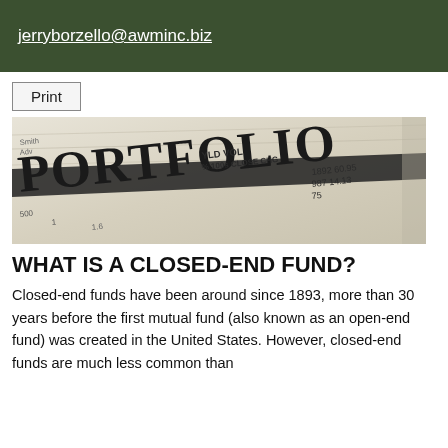jerryborzello@awminc.biz
Print
[Figure (photo): Close-up photograph of a newspaper financial page showing the word PORTFOLIO in large bold letters, with columns showing YLD VOL % 100s CLOSE CHG and numbers like 1892 60.95 987 14.13]
WHAT IS A CLOSED-END FUND?
Closed-end funds have been around since 1893, more than 30 years before the first mutual fund (also known as an open-end fund) was created in the United States. However, closed-end funds are much less common than